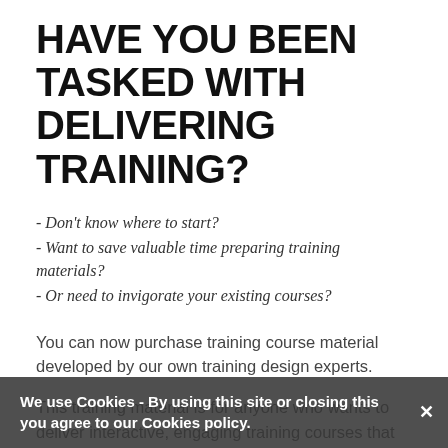HAVE YOU BEEN TASKED WITH DELIVERING TRAINING?
- Don't know where to start?
- Want to save valuable time preparing training materials?
- Or need to invigorate your existing courses?
You can now purchase training course material developed by our own training design experts.
This training material is for anyone who wants to deliver interactive, engaging training courses that are proven to achieve results.
Experienced trainers know that it takes at least 3 days preparation per day of training delivered - so purchasing these ready-to-run courses is a very cost effective way for
We use Cookies - By using this site or closing this you agree to our Cookies policy.